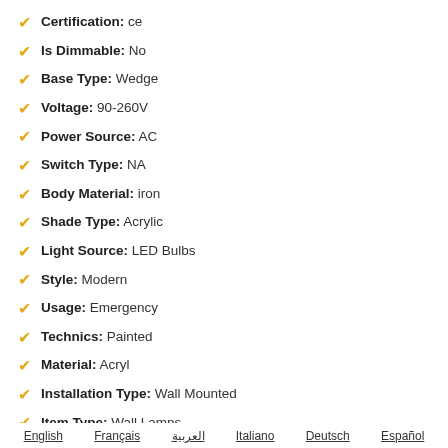Certification: ce
Is Dimmable: No
Base Type: Wedge
Voltage: 90-260V
Power Source: AC
Switch Type: NA
Body Material: iron
Shade Type: Acrylic
Light Source: LED Bulbs
Style: Modern
Usage: Emergency
Technics: Painted
Material: Acryl
Installation Type: Wall Mounted
Item Type: Wall Lamps
Warranty: 2 years
Number of light sources: 2
Lighting Area: 3-5square meters
English  Français  العربية  Italiano  Deutsch  Español